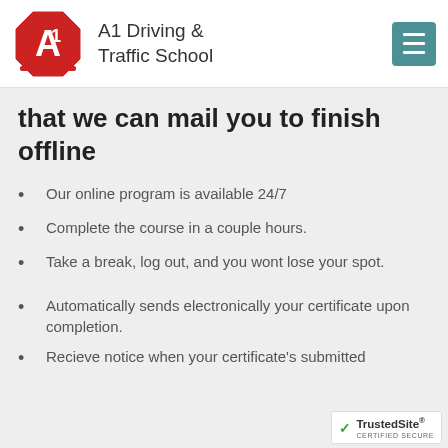A1 Driving & Traffic School
that we can mail you to finish offline
Our online program is available 24/7
Complete the course in a couple hours.
Take a break, log out, and you wont lose your spot.
Automatically sends electronically your certificate upon completion.
Recieve notice when your certificate's submitted